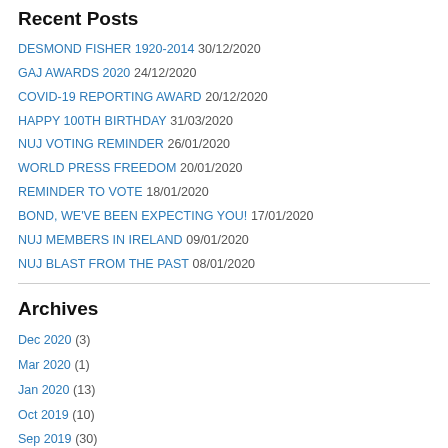Recent Posts
DESMOND FISHER 1920-2014 30/12/2020
GAJ AWARDS 2020 24/12/2020
COVID-19 REPORTING AWARD 20/12/2020
HAPPY 100TH BIRTHDAY 31/03/2020
NUJ VOTING REMINDER 26/01/2020
WORLD PRESS FREEDOM 20/01/2020
REMINDER TO VOTE 18/01/2020
BOND, WE'VE BEEN EXPECTING YOU! 17/01/2020
NUJ MEMBERS IN IRELAND 09/01/2020
NUJ BLAST FROM THE PAST 08/01/2020
Archives
Dec 2020 (3)
Mar 2020 (1)
Jan 2020 (13)
Oct 2019 (10)
Sep 2019 (30)